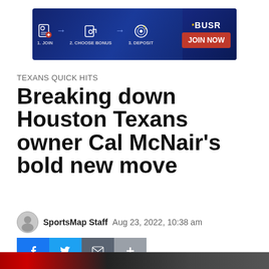[Figure (other): BUSR advertisement banner showing 3 steps: 1. Join, 2. Choose Bonus, 3. Deposit, with a red JOIN NOW button]
TEXANS QUICK HITS
Breaking down Houston Texans owner Cal McNair's bold new move
SportsMap Staff   Aug 23, 2022, 10:38 am
[Figure (other): Social share buttons: Facebook, Twitter, Email, More (+)]
[Figure (photo): Partial photo at bottom of page, appears to show Houston Texans imagery]